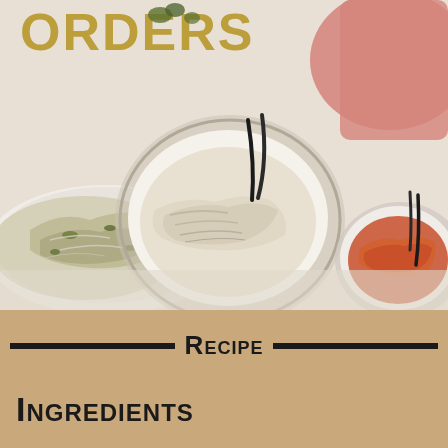[Figure (photo): Overhead view of three bowls/plates containing different shredded chicken preparations on a light surface with a pink cloth. Text overlay reads 'ORDERS' in gold letters. Left plate has herb-seasoned shredded chicken, center bowl has plain shredded chicken with black tong, right bowl has red sauce shredded chicken with black fork.]
Recipe
Ingredients